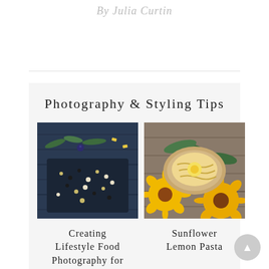By Julia Curtin
Photography & Styling Tips
[Figure (photo): Overhead shot of a dark bowl with mixed grains, blueberries, and herbs on a dark blue wooden surface with scattered ingredients]
[Figure (photo): Overhead shot of a pasta dish in an oval plate surrounded by sunflowers and green leaves on a rustic wooden surface]
Creating Lifestyle Food Photography for
Sunflower Lemon Pasta